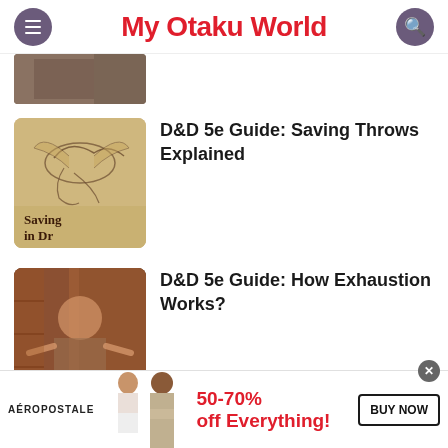My Otaku World
[Figure (photo): Partial article thumbnail image at top (cropped)]
[Figure (illustration): D&D dragon illustration with text 'Saving in Dr' (Saving Throws in D&D)]
D&D 5e Guide: Saving Throws Explained
[Figure (photo): Photo of person with arms outstretched, D&D related movie scene]
D&D 5e Guide: How Exhaustion Works?
[Figure (photo): Aeropostale advertisement banner with two models, 50-70% off Everything, BUY NOW button]